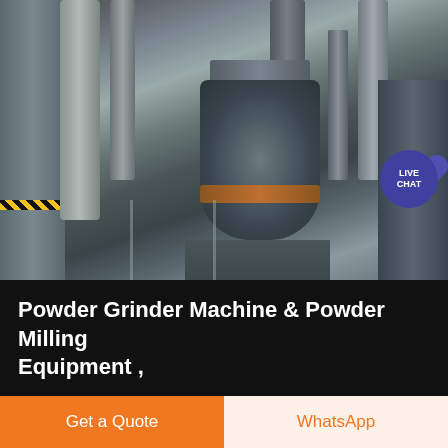[Figure (photo): Industrial powder grinder/milling equipment inside a large factory building, showing large cylindrical machines, pipes, and metal structures.]
Powder Grinder Machine & Powder Milling Equipment ,
Ultra Fine Automatic Powder Grinder Machine YF3-1 Powder Grinder also name Powder Mill Machine, it is used for milling all kinds of dry materials like herb, Chinese herbal medicine, spices, grains, beans, peanuts, pearls and